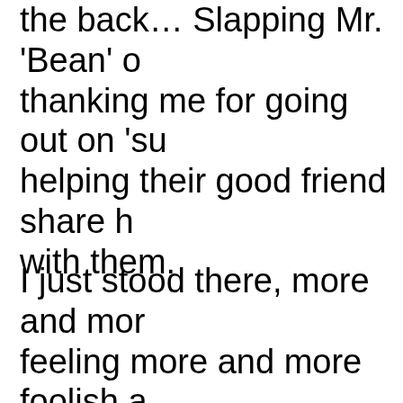the back… Slapping Mr. 'Bean' on the back… thanking me for going out on 'su… helping their good friend share h… with them.
I just stood there, more and more… feeling more and more foolish a… was learning about… and from t…
It was Mr. 'Bean' who finally bro… gentlemen, it's time for all of you… ground, and for me to let this p…